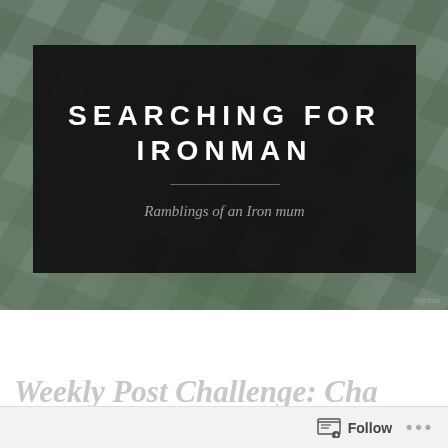[Figure (photo): Hero banner with rocky/watery textured background in muted green-gray tones]
SEARCHING FOR IRONMAN
Ramblings of an Iron mum
[Figure (other): Navigation bar with hamburger menu icon on left and search icon on right, black background]
Weekly Post Challenge: Cha…
Follow  •••